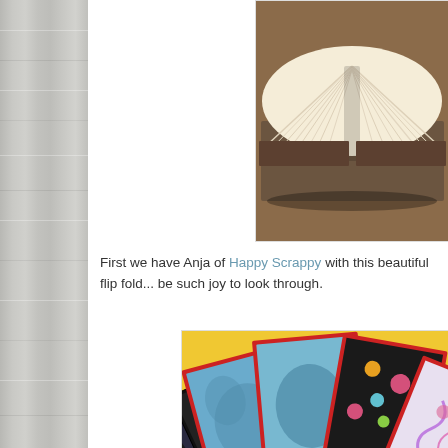[Figure (photo): Open book photographed from the side showing fanned pages on a wooden surface, top right of page]
First we have Anja of Happy Scrappy with this beautiful flip fold... be such joy to look through.
[Figure (photo): Colorful handmade flip fold book with red binding and fabric covers in blue, black, and floral patterns, fanned open on a yellow background]